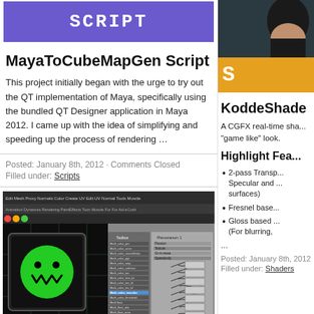[Figure (logo): Purple banner with white bold pixel-font text reading SCRIPT]
MayaToCubeMapGen Script
This project initially began with the urge to try out the QT implementation of Maya, specifically using the bundled QT Designer application in Maya 2012. I came up with the idea of simplifying and speeding up the process of rendering …
Posted: January 8th, 2012 · Comments Closed
Filled under: Scripts
[Figure (screenshot): Screenshot of Maya software with node network and smiley face render]
[Figure (photo): Dark photo partially visible on right side]
[Figure (logo): Orange banner with white bold pixel-font letter S]
KoddeShade
A CGFX real-time sha... "game like" look.
Highlight Fea...
2-pass Transp... Specular and ... surfaces)
Fresnel base...
Gloss based ... (For blurring,
...
Posted: January 8th, 2012
Filled under: Shaders